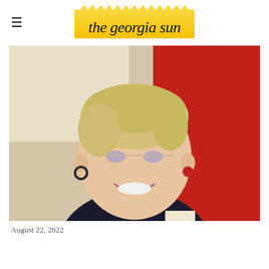the georgia sun
[Figure (photo): Portrait photo of an older woman with short blonde hair, wireframe glasses, smiling broadly, wearing a dark blazer and gold necklace with a name badge, against a red background]
August 22, 2022